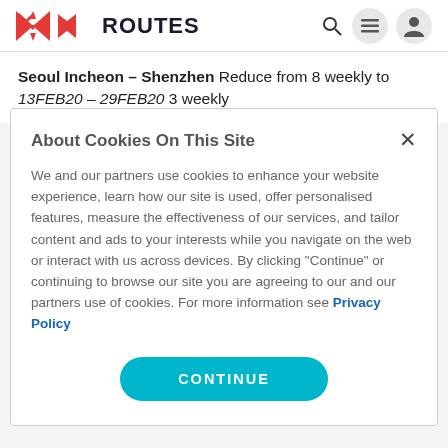ROUTES
Seoul Incheon – Shenzhen Reduce from 8 weekly to 13FEB20 – 29FEB20 3 weekly
About Cookies On This Site
We and our partners use cookies to enhance your website experience, learn how our site is used, offer personalised features, measure the effectiveness of our services, and tailor content and ads to your interests while you navigate on the web or interact with us across devices. By clicking "Continue" or continuing to browse our site you are agreeing to our and our partners use of cookies. For more information see Privacy Policy
CONTINUE